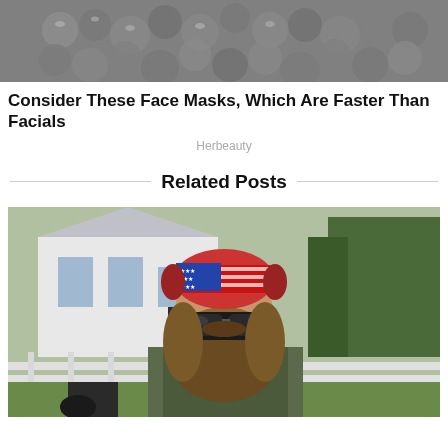[Figure (photo): Close-up photo of metallic/grey spherical beads or pearls in a bowl, likely a face mask product]
Consider These Face Masks, Which Are Faster Than Facials
Herbeauty
Related Posts
[Figure (photo): Man with large beard wearing American flag bandana/headband and dark sunglasses, wearing camo shirt, sitting on farm equipment with a white farmhouse and trees in background]